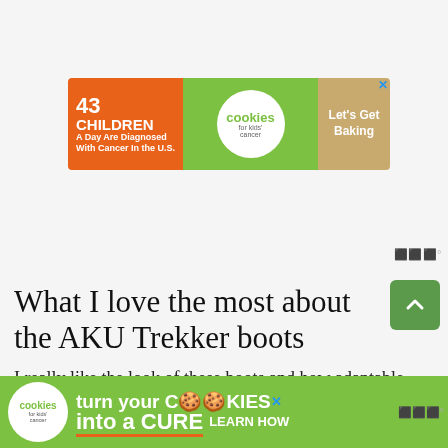[Figure (infographic): Advertisement banner: '43 CHILDREN A Day Are Diagnosed With Cancer In the U.S.' with Cookies for Kids' Cancer logo and 'Let's Get Baking' call to action on orange-green-tan background]
What I love the most about the AKU Trekker boots
I really like the look of these boots and how adaptable they are to everyday life — especially on wet winter days. The grip is superb, and the waterproofing is the mo
[Figure (infographic): Bottom advertisement banner: 'turn your COOKIES into a CURE LEARN HOW' with Cookies for Kids' Cancer logo on green background]